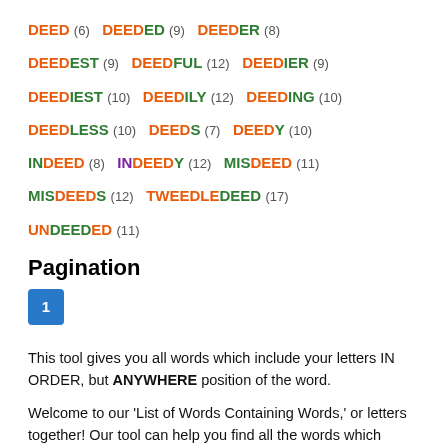DEED (6) DEEDED (9) DEEDER (8)
DEEDEST (9) DEEDFUL (12) DEEDIER (9)
DEEDIEST (10) DEEDILY (12) DEEDING (10)
DEEDLESS (10) DEEDS (7) DEEDY (10)
INDEED (8) INDEEDY (12) MISDEED (11)
MISDEEDS (12) TWEEDLEDEED (17)
UNDEEDED (11)
Pagination
1
This tool gives you all words which include your letters IN ORDER, but ANYWHERE position of the word.
Welcome to our 'List of Words Containing Words,' or letters together! Our tool can help you find all the words which